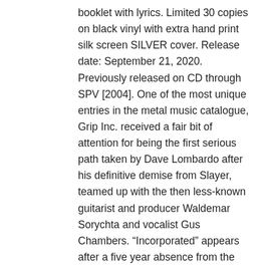booklet with lyrics. Limited 30 copies on black vinyl with extra hand print silk screen SILVER cover. Release date: September 21, 2020. Previously released on CD through SPV [2004]. One of the most unique entries in the metal music catalogue, Grip Inc. received a fair bit of attention for being the first serious path taken by Dave Lombardo after his definitive demise from Slayer, teamed up with the then less-known guitarist and producer Waldemar Sorychta and vocalist Gus Chambers. “Incorporated” appears after a five year absence from the scene. Sorychta went back to producing. Lombardo went to Testament, Famtomas and back to Slayer. Vocalist Gus Chambers just went away. Getting back together for “Incorporated” is one of the best decisions this core group of